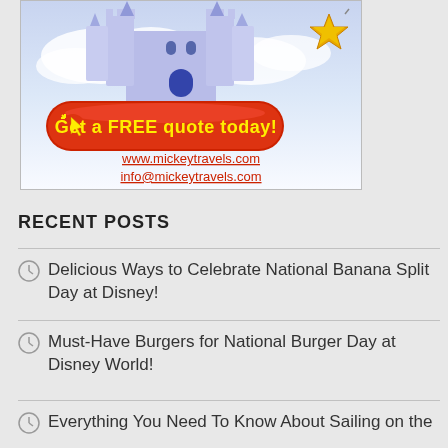[Figure (illustration): Mickey Travels advertisement banner featuring a Disney castle illustration with clouds, a gold star, a red rounded button reading 'Get a FREE quote today!' with a yellow cursor icon, and contact links www.mickeytravels.com and info@mickeytravels.com]
RECENT POSTS
Delicious Ways to Celebrate National Banana Split Day at Disney!
Must-Have Burgers for National Burger Day at Disney World!
Everything You Need To Know About Sailing on the